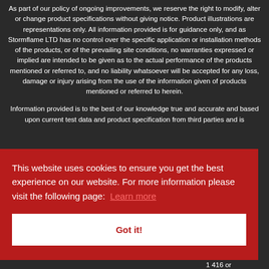As part of our policy of ongoing improvements, we reserve the right to modify, alter or change product specifications without giving notice. Product illustrations are representations only. All information provided is for guidance only, and as Stormflame LTD has no control over the specific application or installation methods of the products, or of the prevailing site conditions, no warranties expressed or implied are intended to be given as to the actual performance of the products mentioned or referred to, and no liability whatsoever will be accepted for any loss, damage or injury arising from the use of the information given of products mentioned or referred to herein.
Information provided is to the best of our knowledge true and accurate and based upon current test data and product specification from third parties and is
es to the ions and antee is control. pense ferred to ations t for your 1 416 or
This website uses cookies to ensure you get the best experience on our website. For more information please visit the following page: Learn more
Got it!